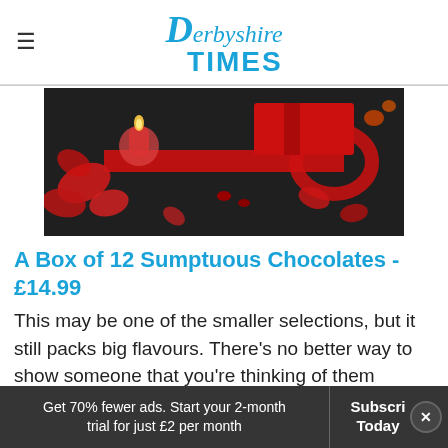Derbyshire Times
[Figure (photo): Romantic styled flatlay on dark background showing red rose petals, a lit candle, red ribbon, and a red wrapped gift box]
A Box of 12 Sumptuous Chocolates - £14.99
This may be one of the smaller selections, but it still packs big flavours. There's no better way to show someone that you're thinking of them
Get 70% fewer ads. Start your 2-month trial for just £2 per month | Subscribe Today